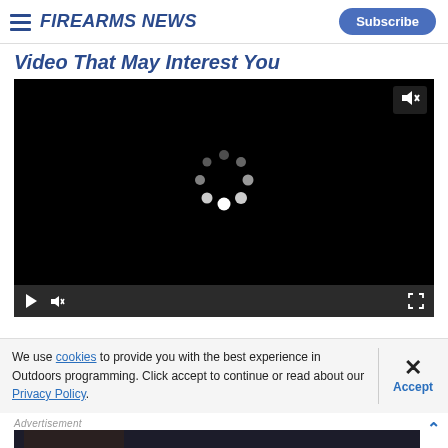Firearms News — Subscribe
Video That May Interest You
[Figure (screenshot): Black video player with loading spinner (circular dots), mute button top-right, and video controls bar at bottom showing play, mute, and fullscreen buttons on dark grey background]
We use cookies to provide you with the best experience in Outdoors programming. Click accept to continue or read about our Privacy Policy.
[Figure (screenshot): Savage Arms advertisement banner: dark background, text reading 'THE BEST STORIES START WITH SAVAGE' with Savage logo, hands holding rifle scope visible on left side]